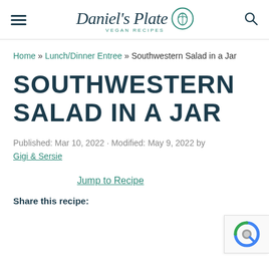Daniel's Plate VEGAN RECIPES
Home » Lunch/Dinner Entree » Southwestern Salad in a Jar
SOUTHWESTERN SALAD IN A JAR
Published: Mar 10, 2022 · Modified: May 9, 2022 by Gigi & Sersie
Jump to Recipe
Share this recipe: